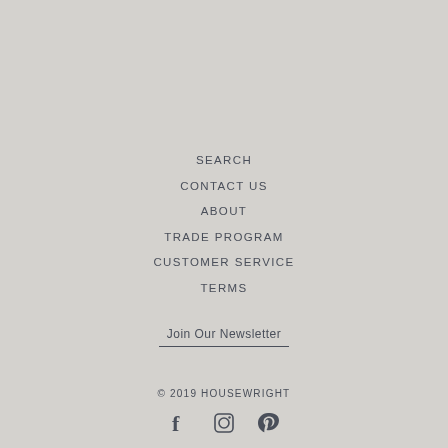SEARCH
CONTACT US
ABOUT
TRADE PROGRAM
CUSTOMER SERVICE
TERMS
Join Our Newsletter
© 2019 HOUSEWRIGHT
[Figure (other): Social media icons: Facebook, Instagram, Pinterest]